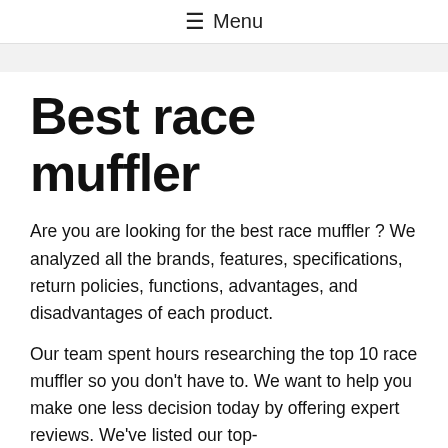☰ Menu
Best race muffler
Are you are looking for the best race muffler ? We analyzed all the brands, features, specifications, return policies, functions, advantages, and disadvantages of each product.
Our team spent hours researching the top 10 race muffler so you don't have to. We want to help you make one less decision today by offering expert reviews. We've listed our top-